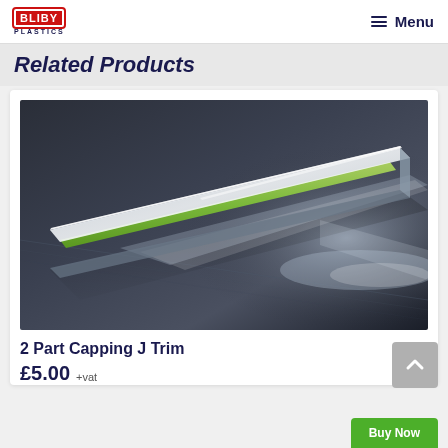BLIBY PLASTICS | Menu
Related Products
[Figure (photo): A translucent plastic J-trim capping strip (2 Part Capping J Trim) photographed at an angle on a dark metallic surface, showing a green backing strip inside the clear plastic channel profile.]
2 Part Capping J Trim
£5.00 +vat